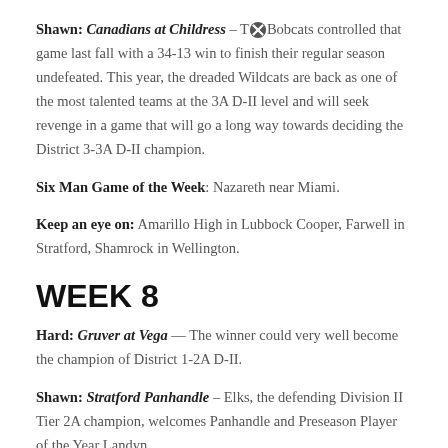Shawn: Canadians at Childress – T[X]Bobcats controlled that game last fall with a 34-13 win to finish their regular season undefeated. This year, the dreaded Wildcats are back as one of the most talented teams at the 3A D-II level and will seek revenge in a game that will go a long way towards deciding the District 3-3A D-II champion.
Six Man Game of the Week: Nazareth near Miami.
Keep an eye on: Amarillo High in Lubbock Cooper, Farwell in Stratford, Shamrock in Wellington.
WEEK 8
Hard: Gruver at Vega — The winner could very well become the champion of District 1-2A D-II.
Shawn: Stratford Panhandle – Elks, the defending Division II Tier 2A champion, welcomes Panhandle and Preseason Player of the Year Landyn [X]